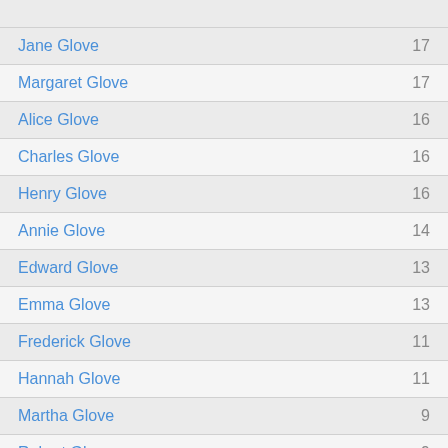Jane Glove — 17
Margaret Glove — 17
Alice Glove — 16
Charles Glove — 16
Henry Glove — 16
Annie Glove — 14
Edward Glove — 13
Emma Glove — 13
Frederick Glove — 11
Hannah Glove — 11
Martha Glove — 9
Robert Glove — 9
Anne Glove — 8